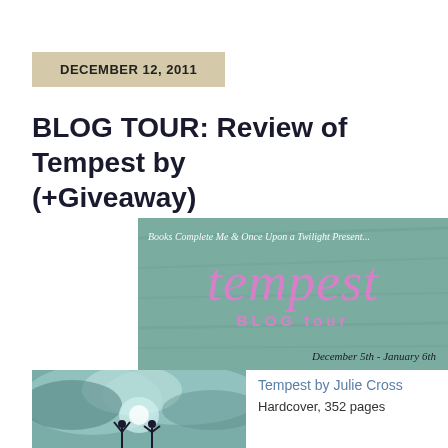DECEMBER 12, 2011
BLOG TOUR: Review of Tempest by (+Giveaway)
[Figure (illustration): Tempest Blog Tour banner image. Teal/turquoise background with text: 'Books Complete Me & Once Upon a Twilight Present... tempest BLOG tour December 5th - January 6th']
[Figure (photo): Book cover of Tempest showing silhouetted figures against dramatic cloudy sky]
Tempest by Julie Cross
Hardcover, 352 pages